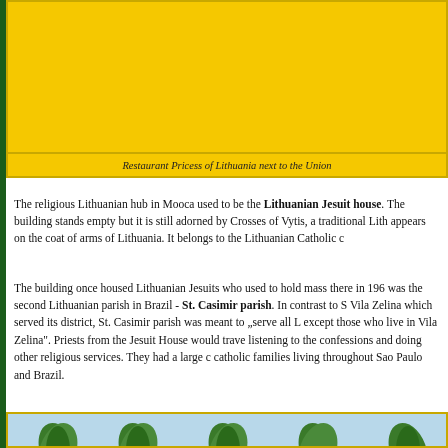[Figure (photo): Large yellow/golden background image area — Restaurant Pricess of Lithuania next to the Union]
Restaurant Pricess of Lithuania next to the Union
The religious Lithuanian hub in Mooca used to be the Lithuanian Jesuit house. The building stands empty but it is still adorned by Crosses of Vytis, a traditional Lith... appears on the coat of arms of Lithuania. It belongs to the Lithuanian Catholic c...
The building once housed Lithuanian Jesuits who used to hold mass there in 196... was the second Lithuanian parish in Brazil - St. Casimir parish. In contrast to S... Vila Zelina which served its district, St. Casimir parish was meant to „serve all L... except those who live in Vila Zelina". Priests from the Jesuit House would trave... listening to the confessions and doing other religious services. They had a large e... catholic families living throughout Sao Paulo and Brazil.
[Figure (photo): Bottom partial image showing decorative plant/flower motifs with blue sky background]